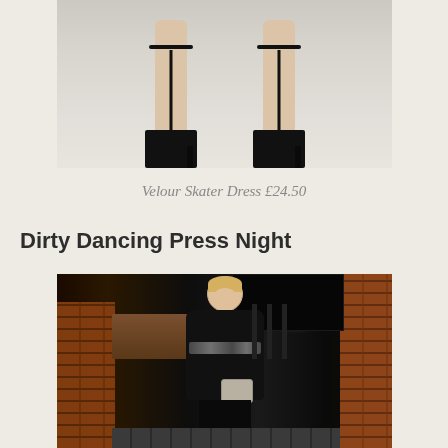[Figure (photo): Bottom portion of a woman's legs wearing black strappy high-heeled sandals against a light grey/white background — product shot for Velour Skater Dress styling]
Velour Skater Dress £24.50
Dirty Dancing Press Night
[Figure (photo): Woman in a black dress with embellished belt holding a clutch bag, photographed outdoors at night against a brick wall background — at Dirty Dancing Press Night event]